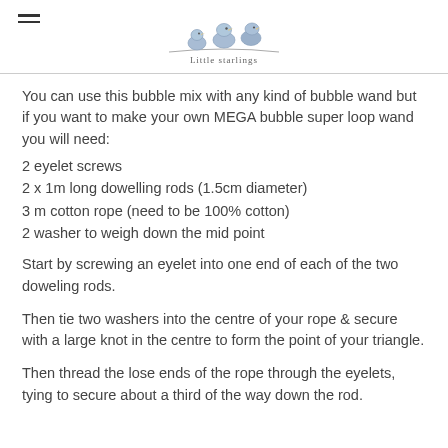Little Starlings
You can use this bubble mix with any kind of bubble wand but if you want to make your own MEGA bubble super loop wand you will need:
2 eyelet screws
2 x 1m long dowelling rods (1.5cm diameter)
3 m cotton rope (need to be 100% cotton)
2 washer to weigh down the mid point
Start by screwing an eyelet into one end of each of the two doweling rods.
Then tie two washers into the centre of your rope & secure with a large knot in the centre to form the point of your triangle.
Then thread the lose ends of the rope through the eyelets, tying to secure about a third of the way down the rod.